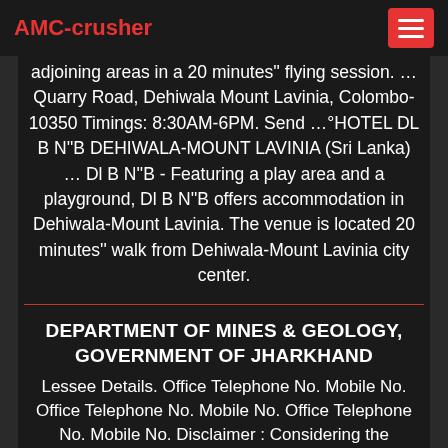AMC-crusher
adjoining areas in a 20 minutes'' flying session. … Quarry Road, Dehiwala Mount Lavinia, Colombo-10350 Timings: 8:30AM-6PM. Send …°HOTEL DL B N''B DEHIWALA-MOUNT LAVINIA (Sri Lanka) … Dl B N''B - Featuring a play area and a playground, Dl B N''B offers accommodation in Dehiwala-Mount Lavinia. The venue is located 20 minutes'' walk from Dehiwala-Mount Lavinia city center.
DEPARTMENT OF MINES & GEOLOGY, GOVERNMENT OF JHARKHAND
Lessee Details. Office Telephone No. Mobile No. Office Telephone No. Mobile No. Office Telephone No. Mobile No. Disclaimer : Considering the voluminous nature of the